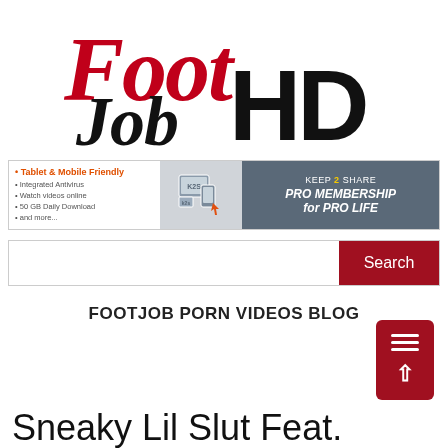[Figure (logo): FootJobHD logo — 'Foot' in red italic script, 'Job' in black italic script, 'HD' in large black bold serif]
[Figure (infographic): Keep2Share PRO MEMBERSHIP for PRO LIFE advertisement banner with device icons and bullet points]
[Figure (screenshot): Search bar with white input field and dark red Search button]
FOOTJOB PORN VIDEOS BLOG
[Figure (other): Dark red hamburger menu / scroll-to-top button widget]
Sneaky Lil Slut Feat.